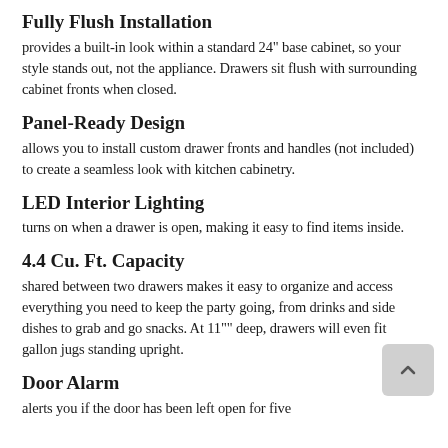Fully Flush Installation
provides a built-in look within a standard 24" base cabinet, so your style stands out, not the appliance. Drawers sit flush with surrounding cabinet fronts when closed.
Panel-Ready Design
allows you to install custom drawer fronts and handles (not included) to create a seamless look with kitchen cabinetry.
LED Interior Lighting
turns on when a drawer is open, making it easy to find items inside.
4.4 Cu. Ft. Capacity
shared between two drawers makes it easy to organize and access everything you need to keep the party going, from drinks and side dishes to grab and go snacks. At 11"" deep, drawers will even fit gallon jugs standing upright.
Door Alarm
alerts you if the door has been left open for five